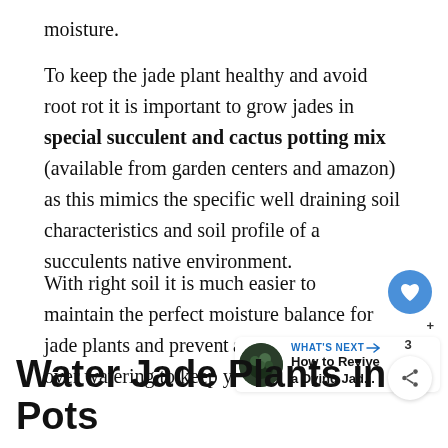moisture.
To keep the jade plant healthy and avoid root rot it is important to grow jades in special succulent and cactus potting mix (available from garden centers and amazon) as this mimics the specific well draining soil characteristics and soil profile of a succulents native environment.
With right soil it is much easier to maintain the perfect moisture balance for jade plants and prevent any affects of over watering to keep your plant healthy.
[Figure (infographic): Floating UI elements: a blue heart/like button showing count of 3, and a share button below it. Also a 'What's Next' widget showing 'How to Revive a Dying Jad...' with a circular plant photo.]
Water Jade Plants in Pots